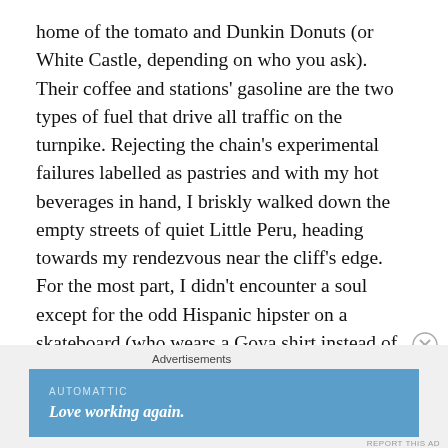home of the tomato and Dunkin Donuts (or White Castle, depending on who you ask). Their coffee and stations' gasoline are the two types of fuel that drive all traffic on the turnpike. Rejecting the chain's experimental failures labelled as pastries and with my hot beverages in hand, I briskly walked down the empty streets of quiet Little Peru, heading towards my rendezvous near the cliff's edge. For the most part, I didn't encounter a soul except for the odd Hispanic hipster on a skateboard (who wears a Goya shirt instead of the standard Wonderbread one) and the ubiquitous Hispanic mothers who bear the Sisyphean task of pushing their family's laundry cart to the local laundromat. After a few quick turns, I finally came within
Advertisements
[Figure (other): Advertisement banner with blue background reading 'AUTOMATTIC' and 'Love working again.' in italic white text.]